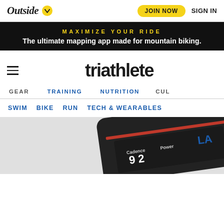Outside | JOIN NOW | SIGN IN
MAXIMIZE YOUR RIDE
The ultimate mapping app made for mountain biking.
triathlete
GEAR  TRAINING  NUTRITION  CUL
SWIM  BIKE  RUN  TECH & WEARABLES
[Figure (photo): Close-up of a bike computer device showing Cadence and Power metrics]